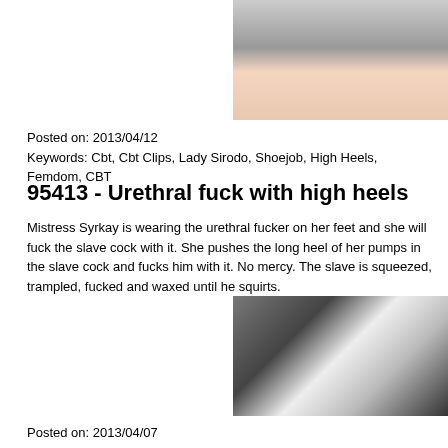[Figure (photo): Partial photo of person, cropped at top of page]
Posted on: 2013/04/12
Keywords: Cbt, Cbt Clips, Lady Sirodo, Shoejob, High Heels, Femdom, CBT
95413 - Urethral fuck with high heels
Mistress Syrkay is wearing the urethral fucker on her feet and she will fuck the slave cock with it. She pushes the long heel of her pumps in the slave cock and fucks him with it. No mercy. The slave is squeezed, trampled, fucked and waxed until he squirts.
[Figure (photo): Photo showing hands holding a bottle and a bowl with medical items]
Posted on: 2013/04/07
Keywords: Cbt, Cbt Clips, Lady Johanna Syrkay, harnröhrenfick, harnröhre, high heels, ab